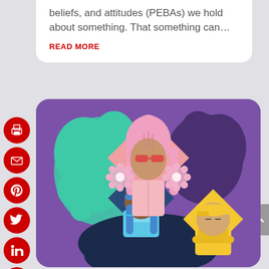beliefs, and attitudes (PEBAs) we hold about something. That something can…
READ MORE
[Figure (illustration): Colorful illustration of three diverse cartoon characters/avatars on a purple background. Center: a tall woman with pink hair, sunglasses, and flowers. Left: a dark-skinned girl with blue braids on a dark blue diamond. Right: a boy with a yellow cap on a yellow diamond. Teal and dark purple blob shapes in background.]
[Figure (infographic): Vertical column of five red circular social media share buttons (print, email, Pinterest, Twitter, LinkedIn, Facebook icons) on the left side of the page.]